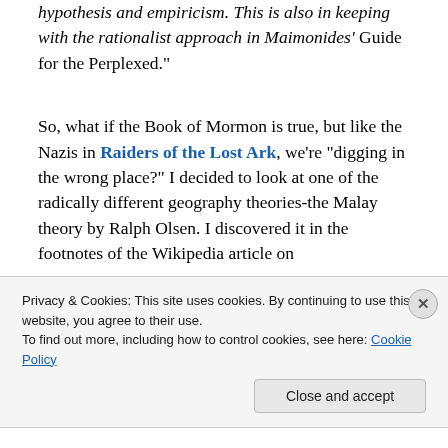hypothesis and empiricism.  This is also in keeping with the rationalist approach in Maimonides' Guide for the Perplexed."
So, what if the Book of Mormon is true, but like the Nazis in Raiders of the Lost Ark, we're "digging in the wrong place?"  I decided to look at one of the radically different geography theories-the Malay theory by Ralph Olsen.  I discovered it in the footnotes of the Wikipedia article on
Privacy & Cookies: This site uses cookies. By continuing to use this website, you agree to their use.
To find out more, including how to control cookies, see here: Cookie Policy